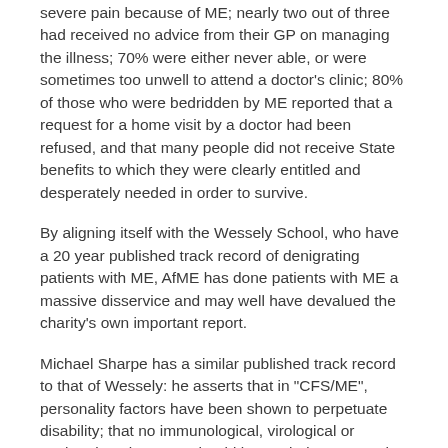severe pain because of ME; nearly two out of three had received no advice from their GP on managing the illness; 70% were either never able, or were sometimes too unwell to attend a doctor's clinic; 80% of those who were bedridden by ME reported that a request for a home visit by a doctor had been refused, and that many people did not receive State benefits to which they were clearly entitled and desperately needed in order to survive.
By aligning itself with the Wessely School, who have a 20 year published track record of denigrating patients with ME, AfME has done patients with ME a massive disservice and may well have devalued the charity's own important report.
Michael Sharpe has a similar published track record to that of Wessely: he asserts that in "CFS/ME", personality factors have been shown to perpetuate disability; that no immunological, virological or nuclear imaging tests should be carried out on such patients; that "the label of CFS avoids the